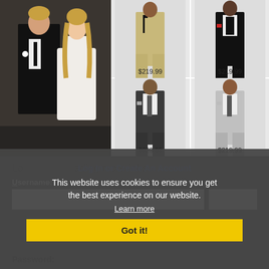[Figure (photo): Hero image of a man in a black tuxedo suit and a woman in a white lace wedding dress, standing together outdoors]
[Figure (photo): Product image: man in a tan/beige suit, price $219.99]
[Figure (photo): Product image: man in a black tuxedo with bow tie, price $219.99]
[Figure (photo): Product image: man in a dark charcoal suit, price $229.99 (strikethrough)]
[Figure (photo): Product image: man in a light grey suit, price $219.99]
Loading more jobs...
This website uses cookies to ensure you get the best experience on our website.
Learn more
Log In or Create An Account
Username:
Got it!
Password: